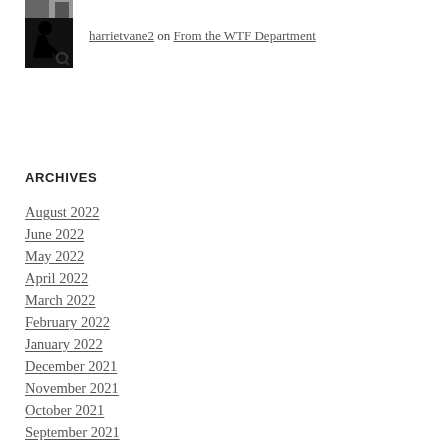[Figure (photo): Two stacked avatar images: a small photo strip on top and a black silhouette of a person looking down at a magnifying glass below]
harrietvane2 on From the WTF Department
ARCHIVES
August 2022
June 2022
May 2022
April 2022
March 2022
February 2022
January 2022
December 2021
November 2021
October 2021
September 2021
August 2021